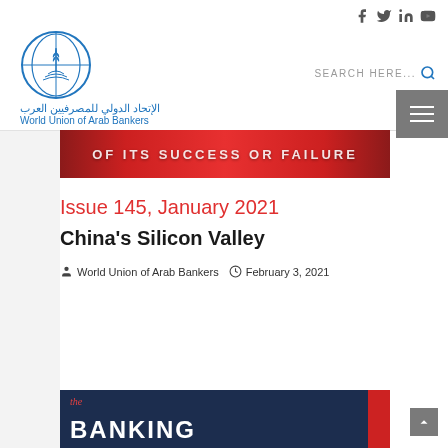World Union of Arab Bankers — website header with logo and search
[Figure (screenshot): Red banner with white bold text reading 'OF ITS SUCCESS OR FAILURE']
Issue 145, January 2021
China's Silicon Valley
World Union of Arab Bankers   February 3, 2021
[Figure (screenshot): Dark navy blue banner with red stripe and bold white text reading 'the BANKING']